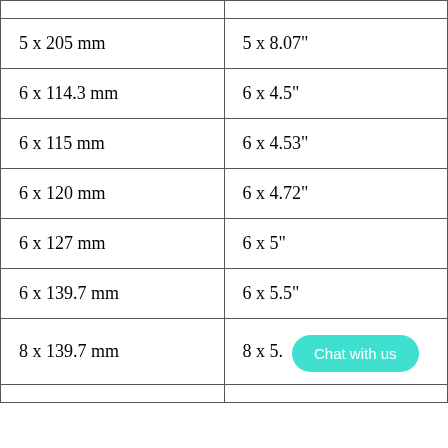| mm | inches |
| --- | --- |
| 5 x 205 mm | 5 x 8.07" |
| 6 x 114.3 mm | 6 x 4.5" |
| 6 x 115 mm | 6 x 4.53" |
| 6 x 120 mm | 6 x 4.72" |
| 6 x 127 mm | 6 x 5" |
| 6 x 139.7 mm | 6 x 5.5" |
| 8 x 139.7 mm | 8 x 5.5" |
|  |  |